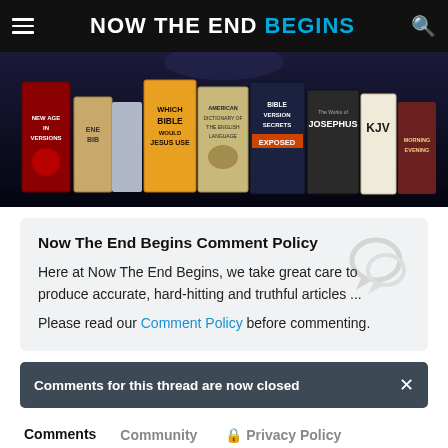NOW THE END BEGINS
[Figure (photo): A row of Bible version books including 'New Age Versions', 'Which Bible Would Jesus Use', 'American Dictionary of the English Language', 'Bible Version Secrets Exposed', 'The Works of Josephus', 'KJV', and 'Morning & Evening', displayed against a dark background.]
Now The End Begins Comment Policy
Here at Now The End Begins, we take great care to produce accurate, hard-hitting and truthful articles ...
Please read our Comment Policy before commenting.
Comments for this thread are now closed
Comments  Community  Privacy Policy